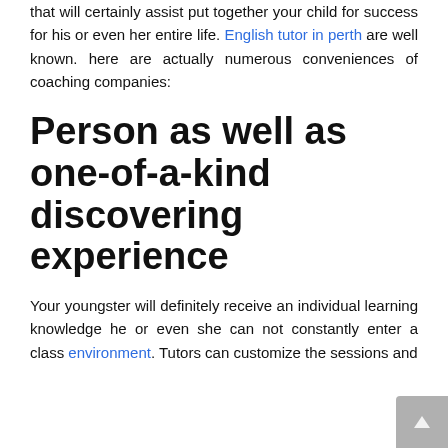that will certainly assist put together your child for success for his or even her entire life. English tutor in perth are well known. here are actually numerous conveniences of coaching companies:
Person as well as one-of-a-kind discovering experience
Your youngster will definitely receive an individual learning knowledge he or even she can not constantly enter a class environment. Tutors can customize the sessions and